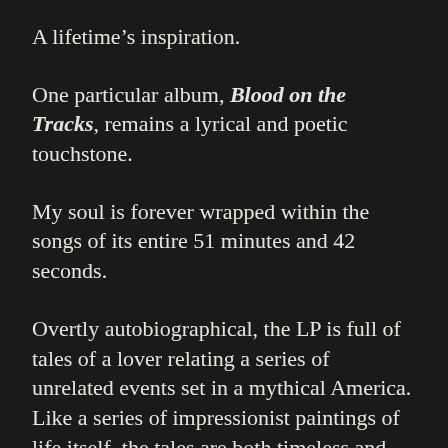A lifetime’s inspiration.
One particular album, Blood on the Tracks, remains a lyrical and poetic touchstone.
My soul is forever wrapped within the songs of its entire 51 minutes and 42 seconds.
Overtly autobiographical, the LP is full of tales of a lover relating a series of unrelated events set in a mythical America. Like a series of impressionist paintings of life itself, the tales are both timeless and without geographical boundaries.
Over 10 iconic songs, Dylan alludes to